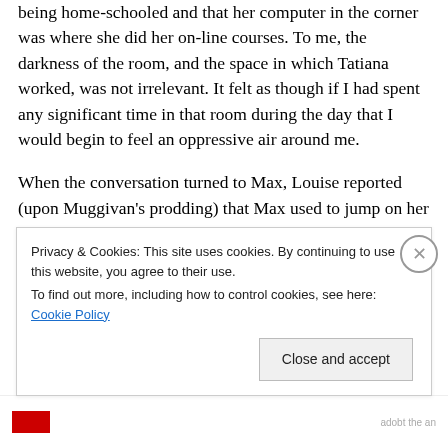being home-schooled and that her computer in the corner was where she did her on-line courses. To me, the darkness of the room, and the space in which Tatiana worked, was not irrelevant. It felt as though if I had spent any significant time in that room during the day that I would begin to feel an oppressive air around me.
When the conversation turned to Max, Louise reported (upon Muggivan's prodding) that Max used to jump on her lap – endlessly – forever it seemed to her. It more than exhausted her; it gave her bruises. (OK – here we have the first piece of information that this is a self-sacrificing
Privacy & Cookies: This site uses cookies. By continuing to use this website, you agree to their use.
To find out more, including how to control cookies, see here: Cookie Policy